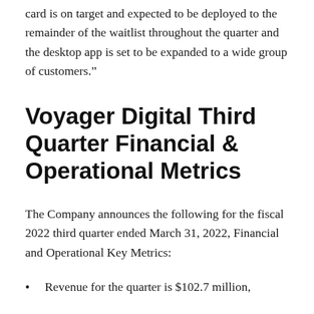card is on target and expected to be deployed to the remainder of the waitlist throughout the quarter and the desktop app is set to be expanded to a wide group of customers."
Voyager Digital Third Quarter Financial & Operational Metrics
The Company announces the following for the fiscal 2022 third quarter ended March 31, 2022, Financial and Operational Key Metrics:
Revenue for the quarter is $102.7 million,